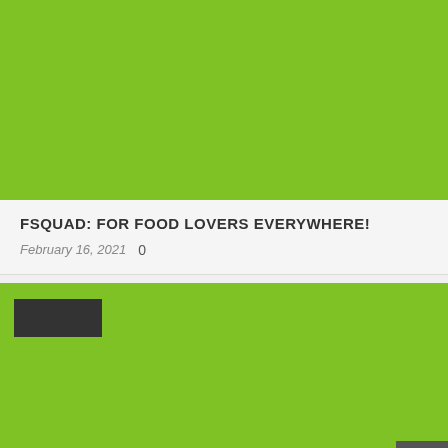[Figure (photo): Green background image placeholder for first card]
FSQUAD: FOR FOOD LOVERS EVERYWHERE!
February 16, 2021   0
[Figure (photo): Green background image placeholder for second card with dark rectangular badge overlay and scroll-to-top button in bottom right corner]